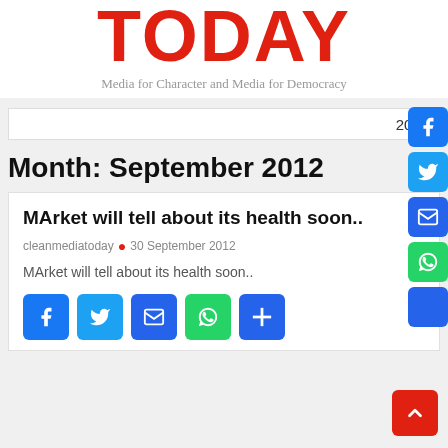TODAY
Media for Character and Media for Democracy
2021
Month: September 2012
MArket will tell about its health soon..
cleanmediatoday • 30 September 2012
MArket will tell about its health soon..